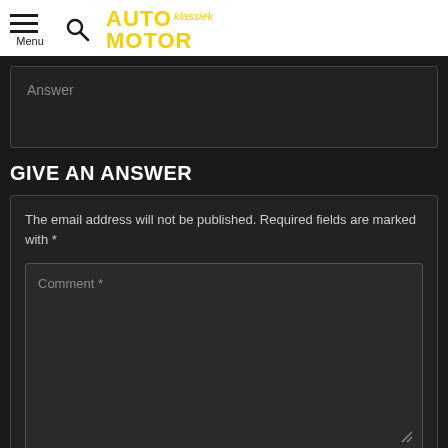Menu | AUTO MOTOR klassiek
Answer
GIVE AN ANSWER
The email address will not be published. Required fields are marked with *
Comment *